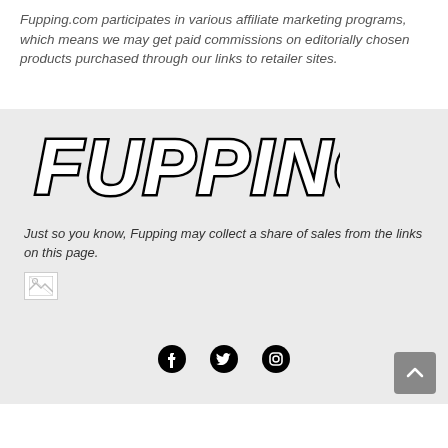Fupping.com participates in various affiliate marketing programs, which means we may get paid commissions on editorially chosen products purchased through our links to retailer sites.
[Figure (logo): Fupping logo in bold italic black outlined font on grey background]
Just so you know, Fupping may collect a share of sales from the links on this page.
[Figure (photo): Broken/missing image placeholder icon]
[Figure (other): Social media icons: Facebook, Twitter, Instagram]